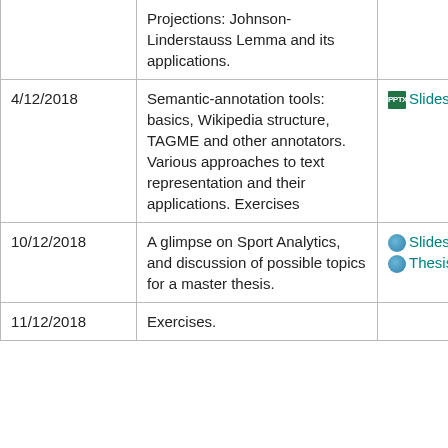| Date | Topic | Materials |
| --- | --- | --- |
|  | Projections: Johnson-Linderstauss Lemma and its applications. |  |
| 4/12/2018 | Semantic-annotation tools: basics, Wikipedia structure, TAGME and other annotators. Various approaches to text representation and their applications. Exercises | Slides |
| 10/12/2018 | A glimpse on Sport Analytics, and discussion of possible topics for a master thesis. | Slides and Thesis ideas. |
| 11/12/2018 | Exercises. |  |